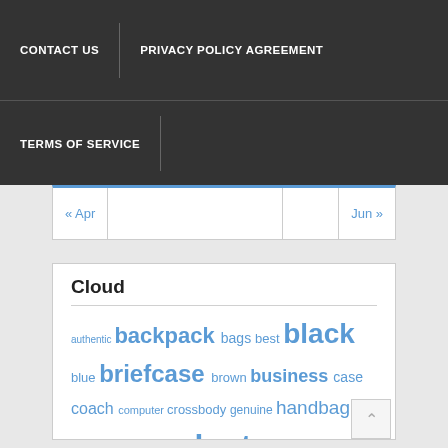CONTACT US | PRIVACY POLICY AGREEMENT | TERMS OF SERVICE
| « Apr |  |  | Jun » |
| --- | --- | --- | --- |
|  |
Cloud
authentic backpack bags best black blue briefcase brown business case coach computer crossbody genuine handbag inch kate kors ladies laptop large leather louis luggage mens messenger michael nylon pink purse rolling satchel school shoulder signature slim spade tote travel tumi vintage voyageur women women's work